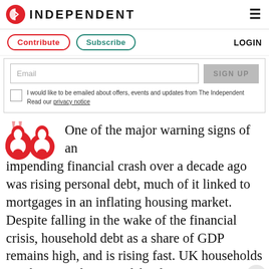INDEPENDENT
Contribute   Subscribe   LOGIN
Email  SIGN UP  I would like to be emailed about offers, events and updates from The Independent Read our privacy notice
One of the major warning signs of an impending financial crash over a decade ago was rising personal debt, much of it linked to mortgages in an inflating housing market. Despite falling in the wake of the financial crisis, household debt as a share of GDP remains high, and is rising fast. UK households are the second most indebted in